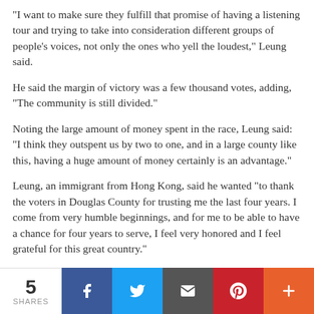"I want to make sure they fulfill that promise of having a listening tour and trying to take into consideration different groups of people's voices, not only the ones who yell the loudest," Leung said.
He said the margin of victory was a few thousand votes, adding, "The community is still divided."
Noting the large amount of money spent in the race, Leung said: "I think they outspent us by two to one, and in a large county like this, having a huge amount of money certainly is an advantage."
Leung, an immigrant from Hong Kong, said he wanted "to thank the voters in Douglas County for trusting me the last four years. I come from very humble beginnings, and for me to be able to have a chance for four years to serve, I feel very honored and I feel grateful for this great country."
The Kids First candidates said it's time for new people to helm Colorado's third-largest school district, saying they would focus on academics, safety and in-person learning
[Figure (infographic): Social share bar at bottom: count of 5 SHARES, then Facebook (blue), Twitter (light blue), Email (dark gray), Pinterest (red), and More/Plus (orange) buttons]